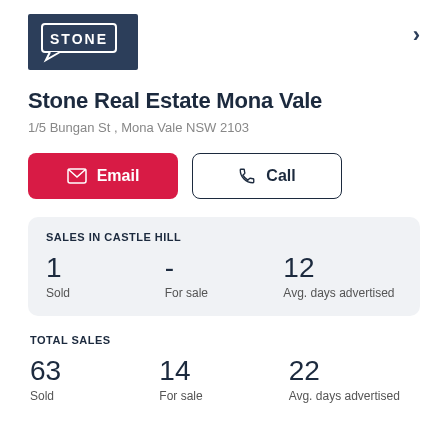[Figure (logo): Stone Real Estate logo — white STONE text with speech bubble outline on dark navy background]
Stone Real Estate Mona Vale
1/5 Bungan St , Mona Vale NSW 2103
Email | Call
SALES IN CASTLE HILL
| Sold | For sale | Avg. days advertised |
| --- | --- | --- |
| 1 | - | 12 |
TOTAL SALES
| Sold | For sale | Avg. days advertised |
| --- | --- | --- |
| 63 | 14 | 22 |